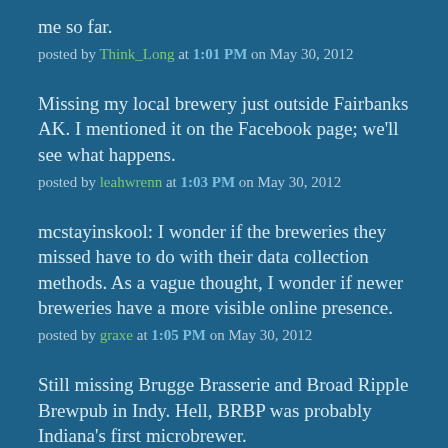me so far.
posted by Think_Long at 1:01 PM on May 30, 2012
Missing my local brewery just outside Fairbanks AK. I mentioned it on the Facebook page; we'll see what happens.
posted by leahwrenn at 1:03 PM on May 30, 2012
mcstayinskool: I wonder if the breweries they missed have to do with their data collection methods. As a vague thought, I wonder if newer breweries have a more visible online presence.
posted by graxe at 1:05 PM on May 30, 2012
Still missing Brugge Brasserie and Broad Ripple Brewpub in Indy. Hell, BRBP was probably Indiana's first microbrewer.